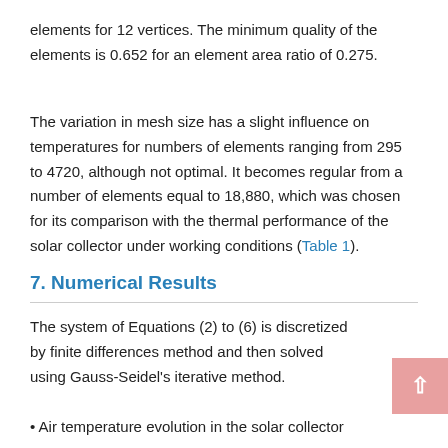elements for 12 vertices. The minimum quality of the elements is 0.652 for an element area ratio of 0.275.
The variation in mesh size has a slight influence on temperatures for numbers of elements ranging from 295 to 4720, although not optimal. It becomes regular from a number of elements equal to 18,880, which was chosen for its comparison with the thermal performance of the solar collector under working conditions (Table 1).
7. Numerical Results
The system of Equations (2) to (6) is discretized by finite differences method and then solved using Gauss-Seidel's iterative method.
• Air temperature evolution in the solar collector